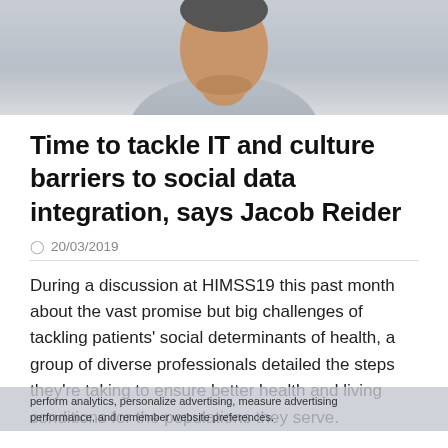[Figure (photo): Photo of a man (Jacob Reider) wearing a light grey shirt, cropped to show face and upper torso against a light grey background.]
Time to tackle IT and culture barriers to social data integration, says Jacob Reider
20/03/2019
During a discussion at HIMSS19 this past month about the vast promise but big challenges of tackling patients' social determinants of health, a group of diverse professionals detailed the steps they're taking to ensure better health and living conditions for the populations they serve.
An employee of one medical group described